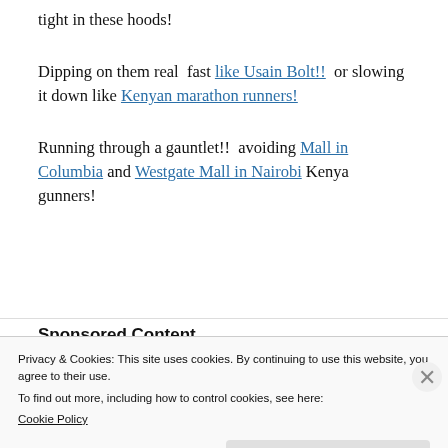tight in these hoods!
Dipping on them real fast like Usain Bolt!! or slowing it down like Kenyan marathon runners!
Running through a gauntlet!! avoiding Mall in Columbia and Westgate Mall in Nairobi Kenya gunners!
Sponsored Content
Privacy & Cookies: This site uses cookies. By continuing to use this website, you agree to their use.
To find out more, including how to control cookies, see here: Cookie Policy
Close and accept